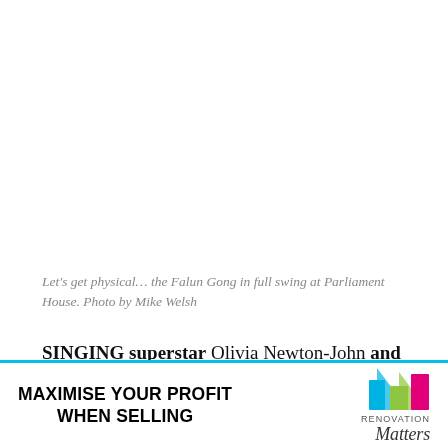Let's get physical… the Falun Gong in full swing at Parliament House. Photo by Mike Welsh
SINGING superstar Olivia Newton-John and more than 100 Falun Gong practitioners separately visited Canberra.
[Figure (other): Advertisement banner: MAXIMISE YOUR PROFIT WHEN SELLING with Renovation Matters logo]